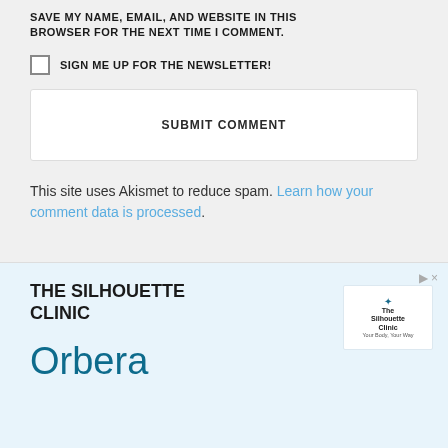SAVE MY NAME, EMAIL, AND WEBSITE IN THIS BROWSER FOR THE NEXT TIME I COMMENT.
SIGN ME UP FOR THE NEWSLETTER!
SUBMIT COMMENT
This site uses Akismet to reduce spam. Learn how your comment data is processed.
[Figure (infographic): Advertisement for The Silhouette Clinic featuring Orbera product with clinic logo]